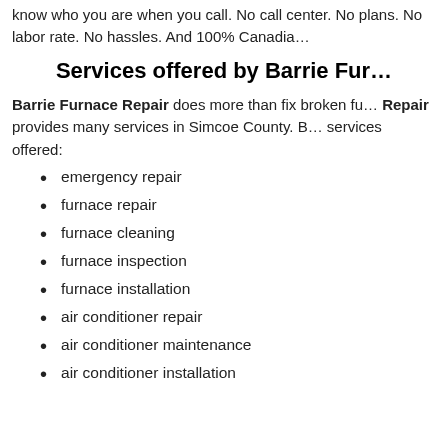know who you are when you call. No call center. No plans. No labor rate. No hassles. And 100% Canadia…
Services offered by Barrie Fur…
Barrie Furnace Repair does more than fix broken fu… Repair provides many services in Simcoe County. B… services offered:
emergency repair
furnace repair
furnace cleaning
furnace inspection
furnace installation
air conditioner repair
air conditioner maintenance
air conditioner installation